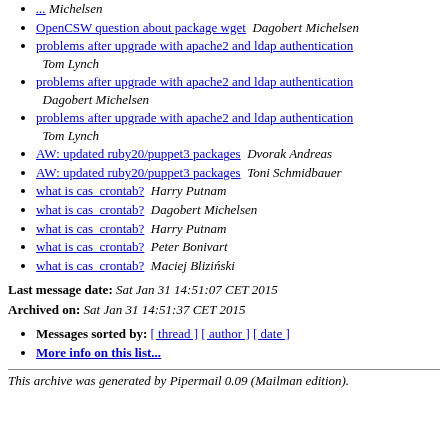OpenCSW question about package wget  Dagobert Michelsen
problems after upgrade with apache2 and ldap authentication  Tom Lynch
problems after upgrade with apache2 and ldap authentication  Dagobert Michelsen
problems after upgrade with apache2 and ldap authentication  Tom Lynch
AW: updated ruby20/puppet3 packages  Dvorak Andreas
AW: updated ruby20/puppet3 packages  Toni Schmidbauer
what is cas_crontab?  Harry Putnam
what is cas_crontab?  Dagobert Michelsen
what is cas_crontab?  Harry Putnam
what is cas_crontab?  Peter Bonivart
what is cas_crontab?  Maciej Bliziński
Last message date: Sat Jan 31 14:51:07 CET 2015
Archived on: Sat Jan 31 14:51:37 CET 2015
Messages sorted by: [ thread ] [ author ] [ date ]
More info on this list...
This archive was generated by Pipermail 0.09 (Mailman edition).